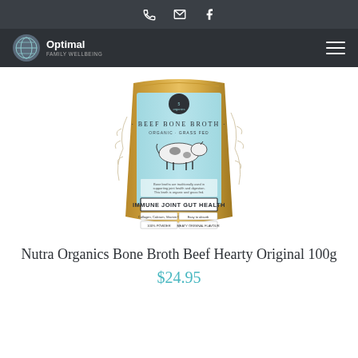phone email facebook icons
Optimal Family Wellbeing navigation
[Figure (photo): Product photo of Nutra Organics Beef Bone Broth 100g pouch with light blue and gold packaging, showing a cow illustration and text: BEEF BONE BROTH, ORGANIC GRASS FED, IMMUNE JOINT GUT HEALTH]
Nutra Organics Bone Broth Beef Hearty Original 100g
$24.95